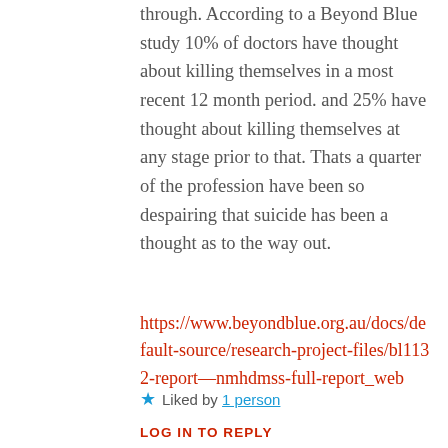through. According to a Beyond Blue study 10% of doctors have thought about killing themselves in a most recent 12 month period. and 25% have thought about killing themselves at any stage prior to that. Thats a quarter of the profession have been so despairing that suicide has been a thought as to the way out.
https://www.beyondblue.org.au/docs/default-source/research-project-files/bl1132-report—nmhdmss-full-report_web
★ Liked by 1 person
LOG IN TO REPLY